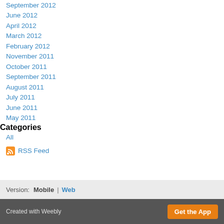September 2012
June 2012
April 2012
March 2012
February 2012
November 2011
October 2011
September 2011
August 2011
July 2011
June 2011
May 2011
Categories
All
RSS Feed
Version:  Mobile  |  Web
Created with Weebly    Get the App